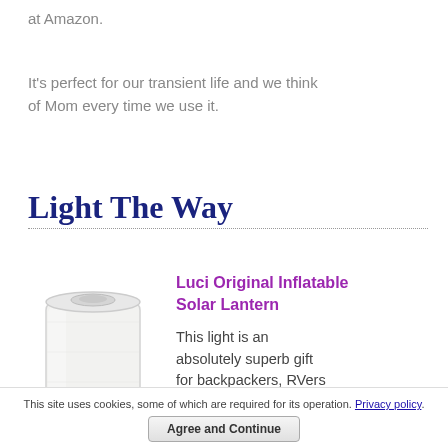at Amazon.
It's perfect for our transient life and we think of Mom every time we use it.
Light The Way
[Figure (photo): Photo of a Luci Original Inflatable Solar Lantern - a clear cylindrical inflatable lantern with LED lights visible at the base]
Luci Original Inflatable Solar Lantern
This light is an absolutely superb gift for backpackers, RVers
This site uses cookies, some of which are required for its operation. Privacy policy. Agree and Continue